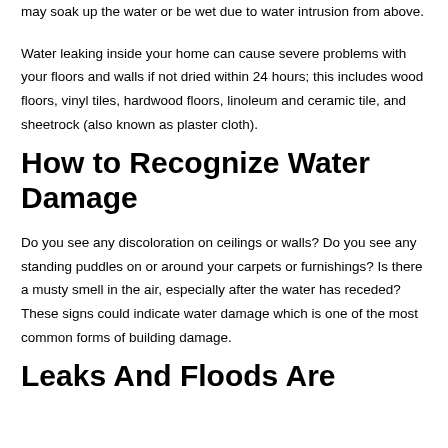may soak up the water or be wet due to water intrusion from above.
Water leaking inside your home can cause severe problems with your floors and walls if not dried within 24 hours; this includes wood floors, vinyl tiles, hardwood floors, linoleum and ceramic tile, and sheetrock (also known as plaster cloth).
How to Recognize Water Damage
Do you see any discoloration on ceilings or walls? Do you see any standing puddles on or around your carpets or furnishings? Is there a musty smell in the air, especially after the water has receded? These signs could indicate water damage which is one of the most common forms of building damage.
Leaks And Floods Are